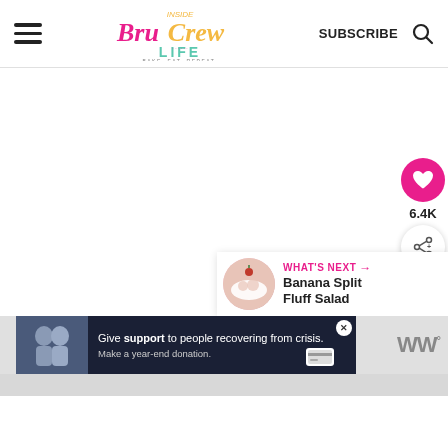Inside BruCrew Life — BAKE. EAT. REPEAT. | SUBSCRIBE
[Figure (screenshot): Large white/light gray content area — main article body placeholder]
[Figure (infographic): Sidebar social buttons: heart icon (pink, 6.4K likes) and share icon (white circle)]
[Figure (photo): WHAT'S NEXT panel with photo of Banana Split Fluff Salad]
[Figure (photo): Advertisement banner: Give support to people recovering from crisis. Make a year-end donation. Shows two people embracing.]
6.4K
WHAT'S NEXT →
Banana Split Fluff Salad
Give support to people recovering from crisis. Make a year-end donation.